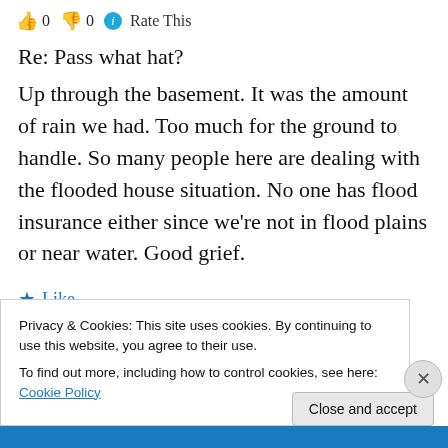👍 0 👎 0 ℹ Rate This
Re: Pass what hat?
Up through the basement. It was the amount of rain we had. Too much for the ground to handle. So many people here are dealing with the flooded house situation. No one has flood insurance either since we're not in flood plains or near water. Good grief.
★ Like
↩ Reply
Privacy & Cookies: This site uses cookies. By continuing to use this website, you agree to their use.
To find out more, including how to control cookies, see here: Cookie Policy
Close and accept